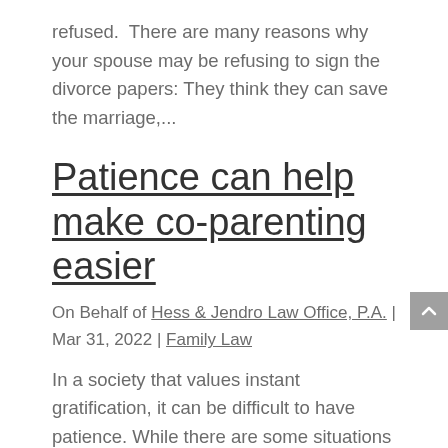refused. There are many reasons why your spouse may be refusing to sign the divorce papers: They think they can save the marriage,...
Patience can help make co-parenting easier
On Behalf of Hess & Jendro Law Office, P.A. | Mar 31, 2022 | Family Law
In a society that values instant gratification, it can be difficult to have patience. While there are some situations that are urgent and require immediate attention, there are others that can be put aside. Determining what's